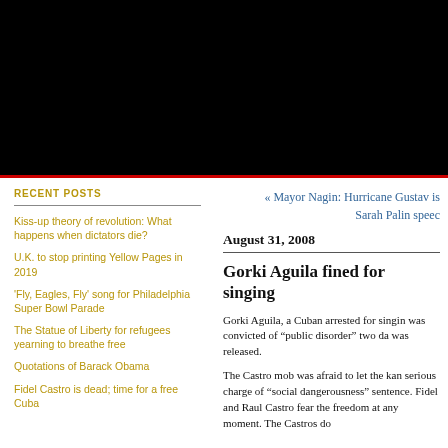[Figure (photo): Black header bar at top of website page]
RECENT POSTS
Kiss-up theory of revolution: What happens when dictators die?
U.K. to stop printing Yellow Pages in 2019
'Fly, Eagles, Fly' song for Philadelphia Super Bowl Parade
The Statue of Liberty for refugees yearning to breathe free
Quotations of Barack Obama
Fidel Castro is dead; time for a free Cuba
« Mayor Nagin: Hurricane Gustav is
Sarah Palin speec
August 31, 2008
Gorki Aguila fined for singing
Gorki Aguila, a Cuban arrested for singin was convicted of "public disorder" two da was released.
The Castro mob was afraid to let the kan serious charge of "social dangerousness" sentence. Fidel and Raul Castro fear the freedom at any moment. The Castros do